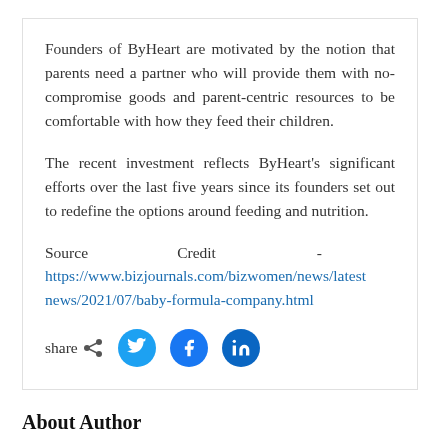Founders of ByHeart are motivated by the notion that parents need a partner who will provide them with no-compromise goods and parent-centric resources to be comfortable with how they feed their children.
The recent investment reflects ByHeart's significant efforts over the last five years since its founders set out to redefine the options around feeding and nutrition.
Source Credit - https://www.bizjournals.com/bizwomen/news/latestnews/2021/07/baby-formula-company.html
[Figure (infographic): Share row with share icon and social media buttons: Twitter (blue bird), Facebook (blue f), LinkedIn (blue in)]
About Author